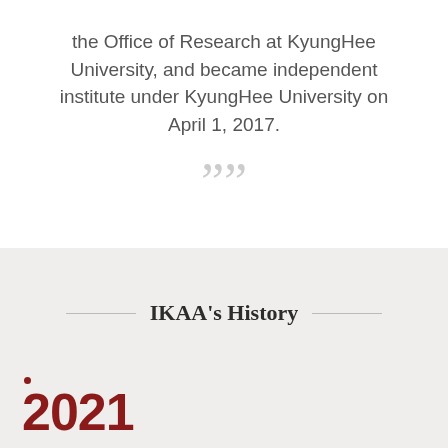the Office of Research at KyungHee University, and became independent institute under KyungHee University on April 1, 2017.
””
IKAA’s History
2021